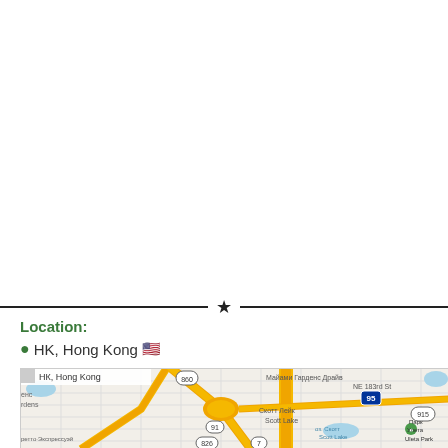[Figure (other): Decorative horizontal divider with a star in the center]
Location:
📍 HK, Hong Kong 🇺🇸
[Figure (map): Google Maps screenshot showing the area labeled HK, Hong Kong, displaying Miami Gardens area with roads including Майами Гарденс Драйв, NE 183rd St, routes 860, 91, 826, 7, 95, 915, and areas Scott Lake, Uleta Park]